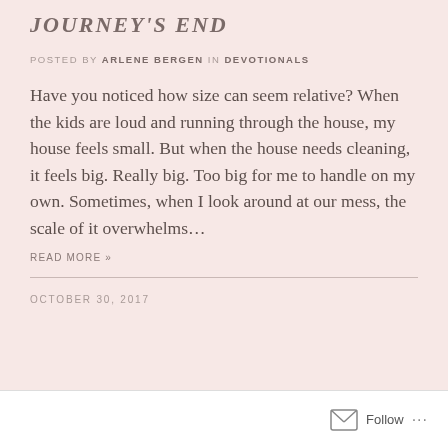JOURNEY'S END
POSTED BY ARLENE BERGEN IN DEVOTIONALS
Have you noticed how size can seem relative? When the kids are loud and running through the house, my house feels small. But when the house needs cleaning, it feels big. Really big. Too big for me to handle on my own. Sometimes, when I look around at our mess, the scale of it overwhelms...
READ MORE »
OCTOBER 30, 2017
Follow